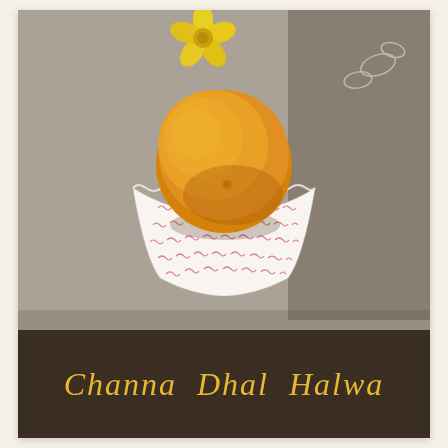[Figure (photo): A round golden-orange Indian sweet (ladoo/halwa) sitting in a decorative white paper cup with pink printed pattern. The sweet is placed on a grey-brown tablecloth surface. A yellow flower is visible in the background upper center. A dark decorative pattern with swirling motifs is visible on the right side of the background.]
Channa Dhal Halwa